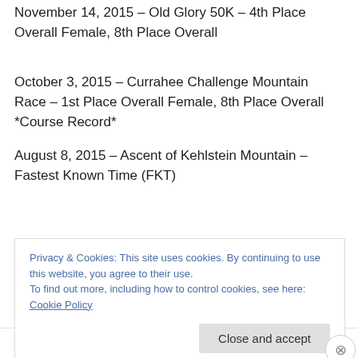November 14, 2015 – Old Glory 50K – 4th Place Overall Female, 8th Place Overall
October 3, 2015 – Currahee Challenge Mountain Race – 1st Place Overall Female, 8th Place Overall *Course Record*
August 8, 2015 – Ascent of Kehlstein Mountain – Fastest Known Time (FKT)
Privacy & Cookies: This site uses cookies. By continuing to use this website, you agree to their use.
To find out more, including how to control cookies, see here: Cookie Policy